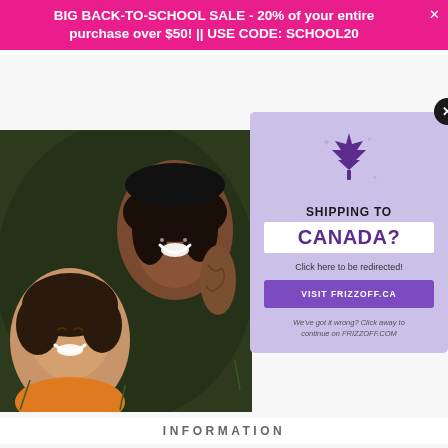BIG BACK-TO-SCHOOL SALE - 20% of your entire purchase over $50! || USE CODE: SCHOOL20
[Figure (photo): Two young women lying on grass, smiling and laughing, one with tattoos on her arm, photographed from above]
kinder
[Figure (infographic): Popup modal with lavender background, purple maple leaf icon with sparkles, text 'SHIPPING TO CANADA?', 'Click here to be redirected!', button 'VISIT FRIZZOFF.CA', footer 'We've got it wrong? Click away to continue on FRIZZOFF.COM'. Black circle close button with X in top-right corner.]
INFORMATION